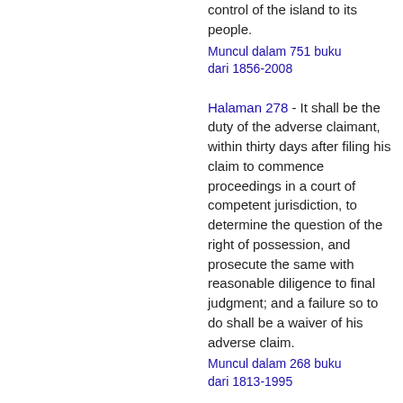control of the island to its people.
Muncul dalam 751 buku dari 1856-2008
Halaman 278 - It shall be the duty of the adverse claimant, within thirty days after filing his claim to commence proceedings in a court of competent jurisdiction, to determine the question of the right of possession, and prosecute the same with reasonable diligence to final judgment; and a failure so to do shall be a waiver of his adverse claim.
Muncul dalam 268 buku dari 1813-1995